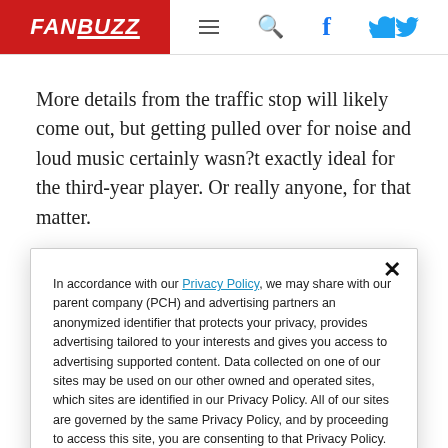FANBUZZ
More details from the traffic stop will likely come out, but getting pulled over for noise and loud music certainly wasn?t exactly ideal for the third-year player. Or really anyone, for that matter.
In accordance with our Privacy Policy, we may share with our parent company (PCH) and advertising partners an anonymized identifier that protects your privacy, provides advertising tailored to your interests and gives you access to advertising supported content. Data collected on one of our sites may be used on our other owned and operated sites, which sites are identified in our Privacy Policy. All of our sites are governed by the same Privacy Policy, and by proceeding to access this site, you are consenting to that Privacy Policy.